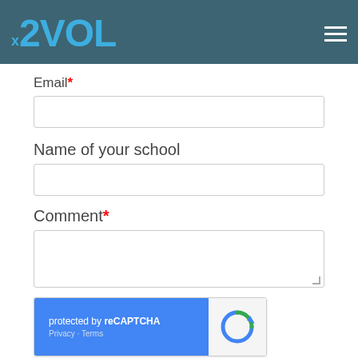[Figure (logo): x2VOL logo in blue on teal header background with hamburger menu icon on right]
Email*
Name of your school
Comment*
[Figure (other): reCAPTCHA widget: blue left section with 'protected by reCAPTCHA' text and Privacy/Terms links, grey right section with reCAPTCHA logo]
SUBMIT COMMENT
Subscribe Here!